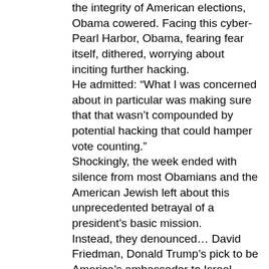the integrity of American elections, Obama cowered. Facing this cyber-Pearl Harbor, Obama, fearing fear itself, dithered, worrying about inciting further hacking.
He admitted: “What I was concerned about in particular was making sure that that wasn’t compounded by potential hacking that could hamper vote counting.”
Shockingly, the week ended with silence from most Obamians and the American Jewish left about this unprecedented betrayal of a president’s basic mission.
Instead, they denounced… David Friedman, Donald Trump’s pick to be America’s ambassador to Israel. Somehow, an American patriot’s support for Israeli settlements more upset these shortsighted ideologues than the Russians’ contempt for American democracy – or the president’s impotence.
Whatever you think of Israel’s settlements, this misplaced fury epitomizes Obama’s failed foreign policy. The outgoing US president has spawned a